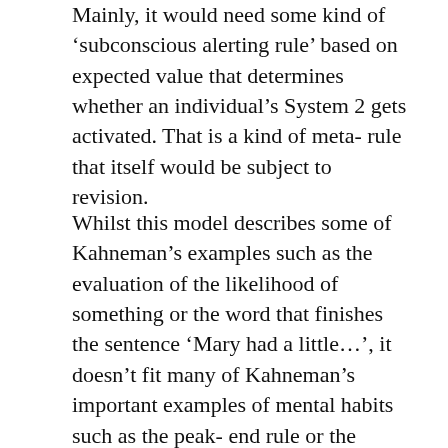Mainly, it would need some kind of 'subconscious alerting rule' based on expected value that determines whether an individual's System 2 gets activated. That is a kind of meta-rule that itself would be subject to revision.
Whilst this model describes some of Kahneman's examples such as the evaluation of the likelihood of something or the word that finishes the sentence 'Mary had a little…', it doesn't fit many of Kahneman's important examples of mental habits such as the peak-end rule or the endowment effect. Those latter habits are more like heuristics about beliefs rather than beliefs themselves. So my first-flush model would neither really describe what